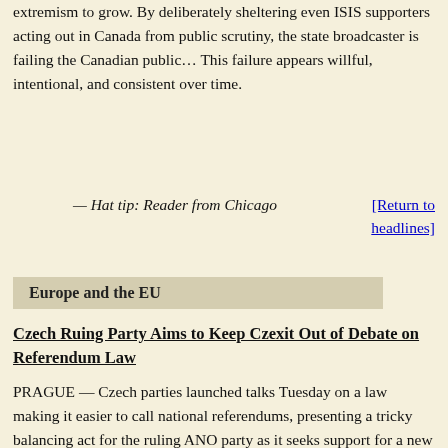extremism to grow. By deliberately sheltering even ISIS supporters acting out in Canada from public scrutiny, the state broadcaster is failing the Canadian public… This failure appears willful, intentional, and consistent over time.
— Hat tip: Reader from Chicago
[Return to headlines]
Europe and the EU
Czech Ruing Party Aims to Keep Czexit Out of Debate on Referendum Law
PRAGUE — Czech parties launched talks Tuesday on a law making it easier to call national referendums, presenting a tricky balancing act for the ruling ANO party as it seeks support for a new government while preventing an unthinkable Czexit vote.
Since Britain voted in 2016 to exit the European Union, European officials have been determined to avoid more anti-EU votes elsewhere, including the Czech Republic, one of the bloc's most euroskeptic countries according to